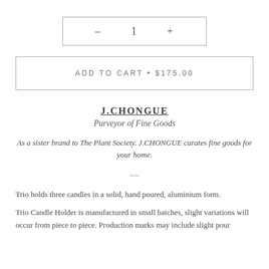[Figure (other): Quantity selector widget showing minus button, number 1, and plus button inside a rectangular border]
ADD TO CART • $175.00
J.CHONGUE
Purveyor of Fine Goods
As a sister brand to The Plant Society. J.CHONGUE curates fine goods for your home.
—
Trio holds three candles in a solid, hand poured, aluminium form.
Trio Candle Holder is manufactured in small batches, slight variations will occur from piece to piece. Production marks may include slight pour